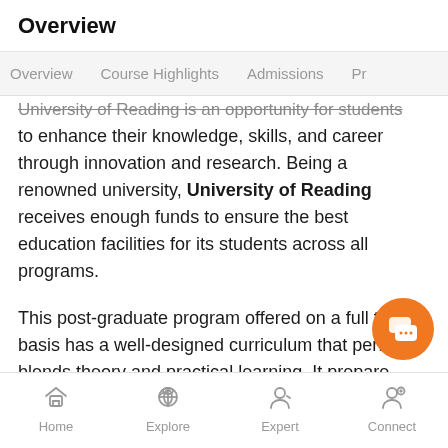Overview
Overview   Course Highlights   Admissions   Pr
University of Reading is an opportunity for students to enhance their knowledge, skills, and career through innovation and research. Being a renowned university, University of Reading receives enough funds to ensure the best education facilities for its students across all programs.
This post-graduate program offered on a full time basis has a well-designed curriculum that perfectly blends theory and practical learning. It prepares students for their professional life to reach new heights of success.
Home   Explore   Expert   Connect